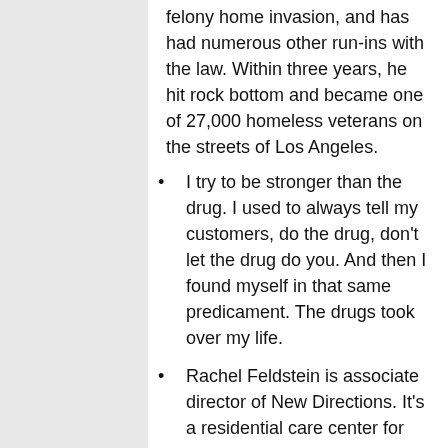felony home invasion, and has had numerous other run-ins with the law. Within three years, he hit rock bottom and became one of 27,000 homeless veterans on the streets of Los Angeles.
I try to be stronger than the drug. I used to always tell my customers, do the drug, don't let the drug do you. And then I found myself in that same predicament. The drugs took over my life.
Rachel Feldstein is associate director of New Directions. It's a residential care center for